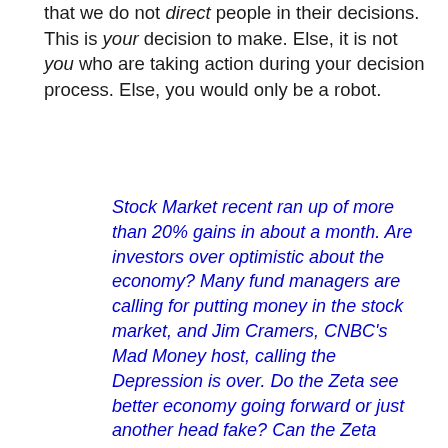that we do not direct people in their decisions. This is your decision to make. Else, it is not you who are taking action during your decision process. Else, you would only be a robot.
Stock Market recent ran up of more than 20% gains in about a month. Are investors over optimistic about the economy? Many fund managers are calling for putting money in the stock market, and Jim Cramers, CNBC's Mad Money host, calling the Depression is over. Do the Zeta see better economy going forward or just another head fake? Can the Zeta comments on the financial sector such banks and insurances now that FASB approved mark-to-market flexibility http://www.marketwatch.com/. Will banks continue to have problems due consumers are tapping out as credit card and mortgage